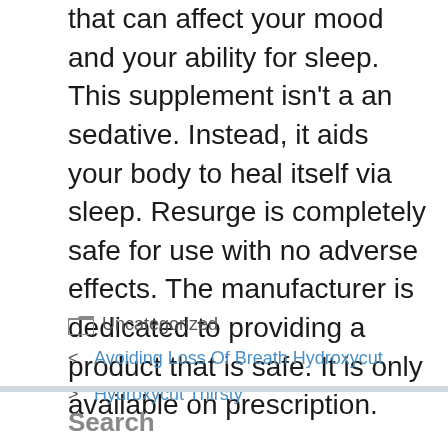that can affect your mood and your ability for sleep. This supplement isn't a an sedative. Instead, it aids your body to heal itself via sleep. Resurge is completely safe for use with no adverse effects. The manufacturer is dedicated to providing a product that is safe. It is only available on prescription.
Uncategorized
Avoiding Loss Of Breath Hydroxycut
Hydroxycut Thirsty
Search